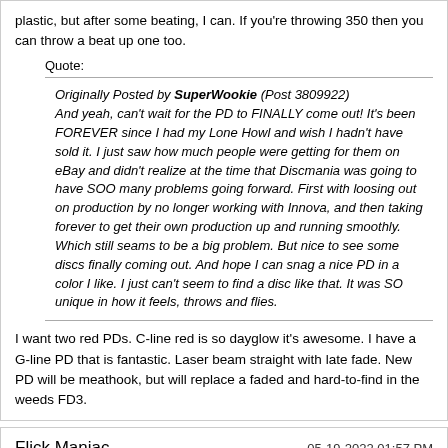plastic, but after some beating, I can. If you're throwing 350 then you can throw a beat up one too.
Quote:
Originally Posted by SuperWookie (Post 3809922) And yeah, can't wait for the PD to FINALLY come out! It's been FOREVER since I had my Lone Howl and wish I hadn't have sold it. I just saw how much people were getting for them on eBay and didn't realize at the time that Discmania was going to have SOO many problems going forward. First with loosing out on production by no longer working with Innova, and then taking forever to get their own production up and running smoothly. Which still seams to be a big problem. But nice to see some discs finally coming out. And hope I can snag a nice PD in a color I like. I just can't seem to find a disc like that. It was SO unique in how it feels, throws and flies.
I want two red PDs. C-line red is so dayglow it's awesome. I have a G-line PD that is fantastic. Laser beam straight with late fade. New PD will be meathook, but will replace a faded and hard-to-find in the weeds FD3.
Flick Maniac
05-19-2022 01:57 PM
~170g DD3s are amazing. Max weight everything is just stoopid.